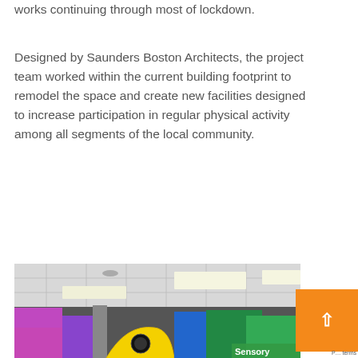works continuing through most of lockdown.
Designed by Saunders Boston Architects, the project team worked within the current building footprint to remodel the space and create new facilities designed to increase participation in regular physical activity among all segments of the local community.
[Figure (photo): Interior photo of a recreational facility showing colorful play equipment, a 'Sensory' label visible in the bottom right, and a drop ceiling with fluorescent lighting above.]